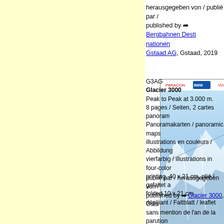herausgegeben von / publié par / published by ➦ Bergbahnen Destination Gstaad AG, Gstaad, 2019
[Figure (photo): Glacier 3000 leaflet cover showing mountain panorama with ski runs, top portion]
[Figure (photo): Glacier 3000 leaflet cover showing Peak to Peak at 3.000m with mountain scenery, bottom portion]
G3AG
Glacier 3000
Peak to Peak at 3.000 m.
8 pages / Seiten, 2 cartes panoramiques / Panoramakarten / panoramic maps, illustrations en couleurs / Abbildungen vierfarbig / illustrations in four-color printing, 40 x 21 cm, plié / gefaltet / folded 10 x 21 cm
dépliiant / Faltblatt / leaflet

publié par / herausgegeben von / published by ➦ Glacier 3000, Gstaad, sans mention de l'an de la parution / ohne Jahresangabe / without any date of publishing (environ / um / about 20…
[Figure (photo): Small photo of people in winter ski clothing]
Gstaad Saanenland Tourismus und…
Gstaad
Ski
(Winter 2018/19)
1 Panoramakarte vierfarbig / carte…